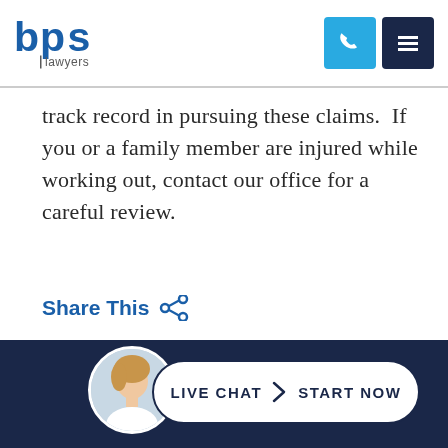[Figure (logo): BPS Lawyers logo with blue stylized 'bps' text and 'lawyers' subtitle, plus phone and menu icons in header]
track record in pursuing these claims.  If you or a family member are injured while working out, contact our office for a careful review.
Share This
[Figure (screenshot): Live Chat Start Now button with female avatar, white pill-shaped button on dark navy footer bar]